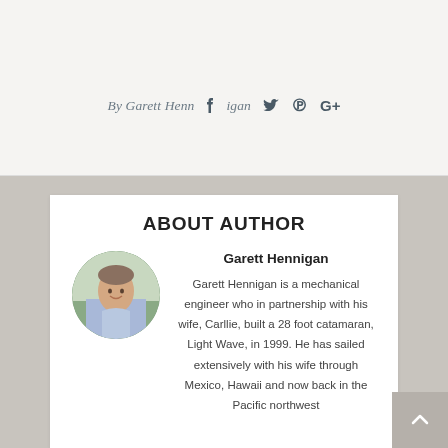By Garett Hennigan [social icons: Facebook, Twitter, Pinterest, Google+]
ABOUT AUTHOR
[Figure (photo): Circular headshot photo of Garett Hennigan, a man smiling, wearing a light blue shirt, outdoors.]
Garett Hennigan
Garett Hennigan is a mechanical engineer who in partnership with his wife, Carllie, built a 28 foot catamaran, Light Wave, in 1999. He has sailed extensively with his wife through Mexico, Hawaii and now back in the Pacific northwest